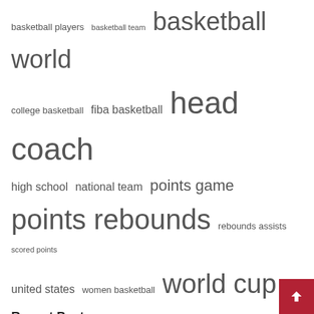basketball players  basketball team  basketball world
college basketball  fiba basketball  head coach
high school  national team  points game
points rebounds  rebounds assists  scored points
united states  women basketball  world cup
Recent Posts
NBA Draft Prospects Get Financing Through Balanced Bridge Funding Ipass
Every NBA player at the FIBA Basketball Tournament
Dario Saric's Suns friendly returns with Croatia in FIBA
No. 44 favorite Hoosier? Picking Indiana's Favorite Basketball Players, One Number at a Time